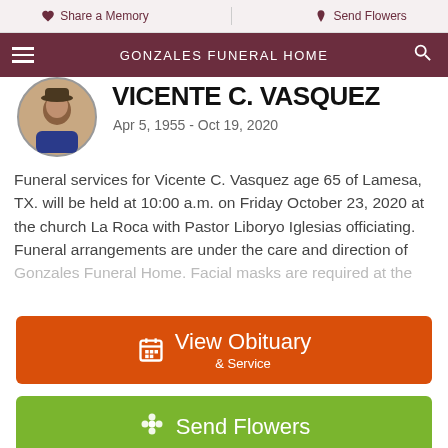GONZALES FUNERAL HOME
Share a Memory | Send Flowers
VICENTE C. VASQUEZ
Apr 5, 1955 - Oct 19, 2020
Funeral services for Vicente C. Vasquez age 65 of Lamesa, TX. will be held at 10:00 a.m. on Friday October 23, 2020 at the church La Roca with Pastor Liboryo Iglesias officiating. Funeral arrangements are under the care and direction of Gonzales Funeral Home. Facial masks are required at the
View Obituary & Service
Send Flowers
Share